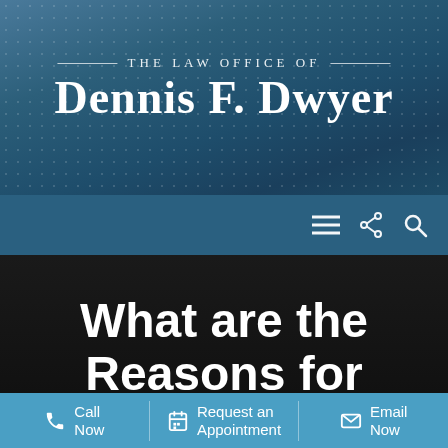[Figure (logo): The Law Office of Dennis F. Dwyer logo on a blue patterned background]
[Figure (screenshot): Navigation bar with hamburger menu, share icon, and search icon on dark blue background]
What are the Reasons for
[Figure (screenshot): Bottom action bar with Call Now, Request an Appointment, and Email Now buttons on blue background]